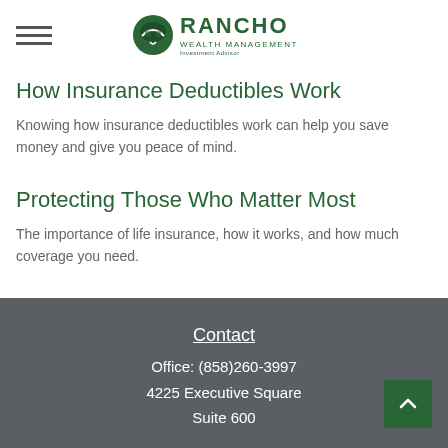Rancho Wealth Management
How Insurance Deductibles Work
Knowing how insurance deductibles work can help you save money and give you peace of mind.
Protecting Those Who Matter Most
The importance of life insurance, how it works, and how much coverage you need.
Contact
Office: (858)260-3997
4225 Executive Square
Suite 600